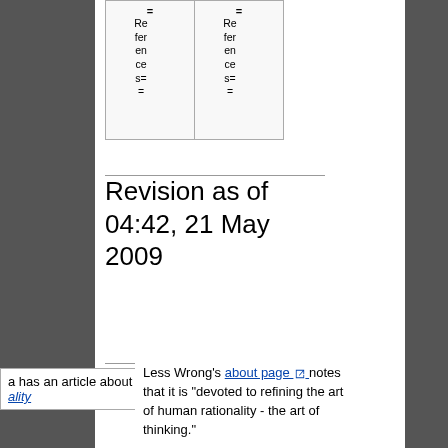| == | == |
| --- | --- |
| References== | References== |
Revision as of 04:42, 21 May 2009
a has an article about
ality
Less Wrong's about page notes that it is "devoted to refining the art of human rationality - the art of thinking."